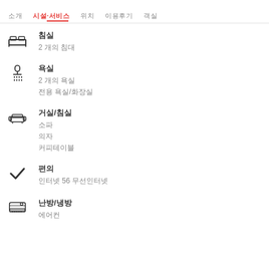소개  시설·서비스  위치  이용후기  객실
침실
2 개의 침대
욕실
2 개의 욕실
전용 욕실/화장실
거실/침실
소파
의자
커피테이블
편의
인터넷 56 무선인터넷
난방/냉방
에어컨